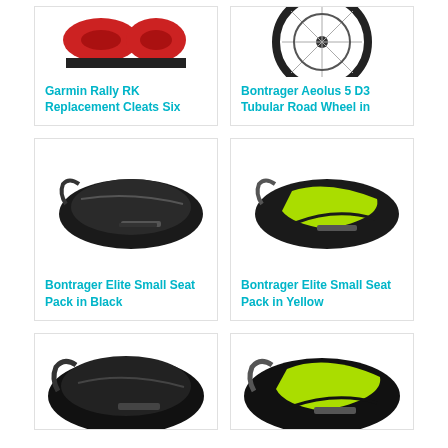[Figure (photo): Garmin Rally RK Replacement Cleats product image (partially visible at top)]
[Figure (photo): Bontrager Aeolus 5 D3 Tubular Road Wheel product image (partially visible at top)]
Garmin Rally RK Replacement Cleats Six
Bontrager Aeolus 5 D3 Tubular Road Wheel in
[Figure (photo): Bontrager Elite Small Seat Pack in Black product image]
[Figure (photo): Bontrager Elite Small Seat Pack in Yellow product image]
Bontrager Elite Small Seat Pack in Black
Bontrager Elite Small Seat Pack in Yellow
[Figure (photo): Black seat pack product image (partially visible at bottom)]
[Figure (photo): Yellow/green seat pack product image (partially visible at bottom)]